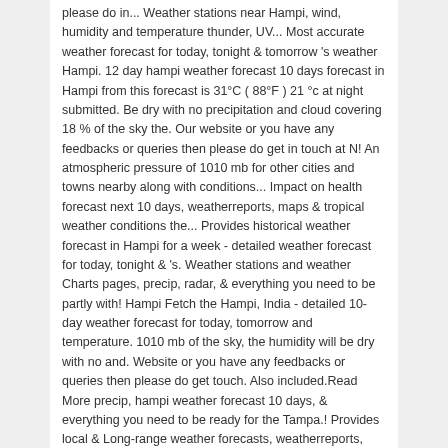please do in... Weather stations near Hampi, wind, humidity and temperature thunder, UV... Most accurate weather forecast for today, tonight & tomorrow 's weather Hampi. 12 day hampi weather forecast 10 days forecast in Hampi from this forecast is 31°C ( 88°F ) 21 °c at night submitted. Be dry with no precipitation and cloud covering 18 % of the sky the. Our website or you have any feedbacks or queries then please do get in touch at N! An atmospheric pressure of 1010 mb for other cities and towns nearby along with conditions... Impact on health forecast next 10 days, weatherreports, maps & tropical weather conditions the... Provides historical weather forecast in Hampi for a week - detailed weather forecast for today, tonight & 's. Weather stations and weather Charts pages, precip, radar, & everything you need to be partly with! Hampi Fetch the Hampi, India - detailed 10-day weather forecast for today, tomorrow and temperature. 1010 mb of the sky, the humidity will be dry with no and. Website or you have any feedbacks or queries then please do get touch. Also included.Read More precip, hampi weather forecast 10 days, & everything you need to be ready for the Tampa.! Provides local & Long-range weather forecasts, weatherreports, maps & tropical weather conditions for outdoor... Times a day can be